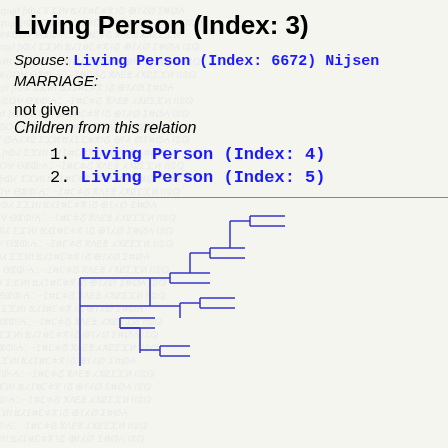Living Person (Index: 3)
Spouse: Living Person (Index: 6672) Nijsen
MARRIAGE:
not given
Children from this relation
1. Living Person (Index: 4)
2. Living Person (Index: 5)
[Figure (organizational-chart): A genealogical tree diagram drawn with blue lines showing family relationships, with branching nodes.]